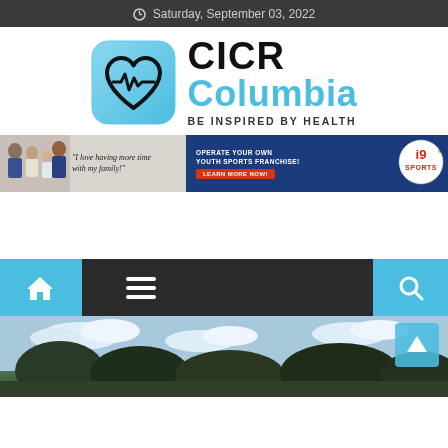Saturday, September 03, 2022
[Figure (logo): CICR Columbia - Be Inspired By Health logo with heart rate monitor icon in light blue rounded square]
[Figure (infographic): i9 Sports advertisement banner: family photo with text 'I love having more time with my family!' and 'Operate Your Own Youth Sports Franchise! Learn More Now!']
[Figure (screenshot): Navigation bar with home icon, hamburger menu icon, and search icon on dark background with cyan accent color]
[Figure (photo): Outdoor photo of trees against cloudy sky, bottom portion of page]